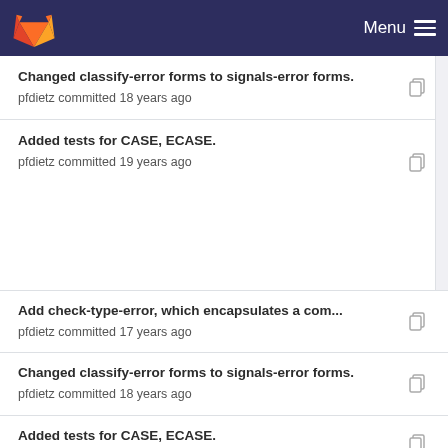GitLab — Menu
Changed classify-error forms to signals-error forms.
pfdietz committed 18 years ago
Added tests for CASE, ECASE.
pfdietz committed 19 years ago
Add check-type-error, which encapsulates a com…
pfdietz committed 17 years ago
Changed classify-error forms to signals-error forms.
pfdietz committed 18 years ago
Added tests for CASE, ECASE.
pfdietz committed 19 years ago